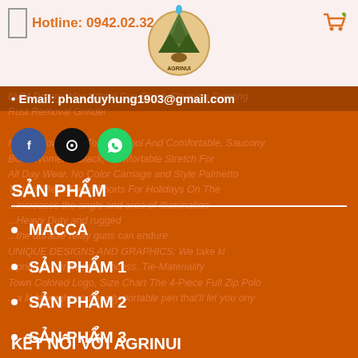Hotline: 0942.02.32...
[Figure (logo): Agrinui mountain logo with circular badge]
Email: phanduyhung1903@gmail.com
[Figure (illustration): Three social media circles: blue (Facebook), black, green (WhatsApp)]
SẢN PHẨM
MACCA
SẢN PHẨM 1
SẢN PHẨM 2
SẢN PHẨM 3
KẾT NỐI VỚI AGRINUI